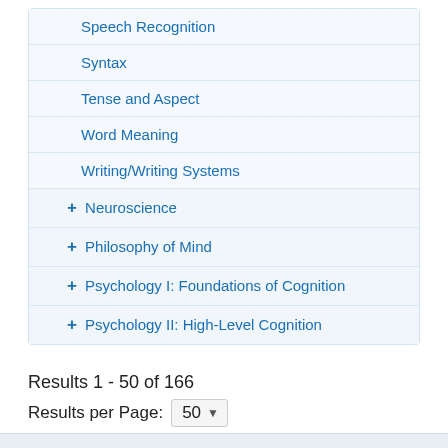Speech Recognition
Syntax
Tense and Aspect
Word Meaning
Writing/Writing Systems
+ Neuroscience
+ Philosophy of Mind
+ Psychology I: Foundations of Cognition
+ Psychology II: High-Level Cognition
Results 1 - 50 of 166
Results per Page: 50